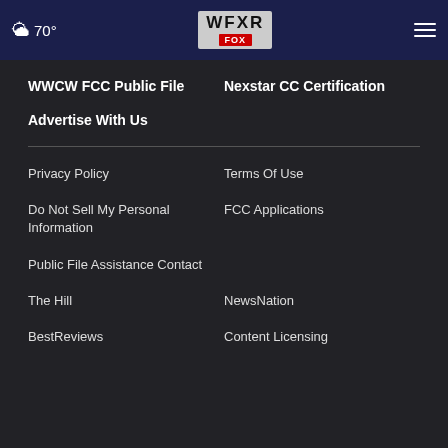70° WFXR FOX
WWCW FCC Public File
Nexstar CC Certification
Advertise With Us
Privacy Policy
Terms Of Use
Do Not Sell My Personal Information
FCC Applications
Public File Assistance Contact
The Hill
NewsNation
BestReviews
Content Licensing